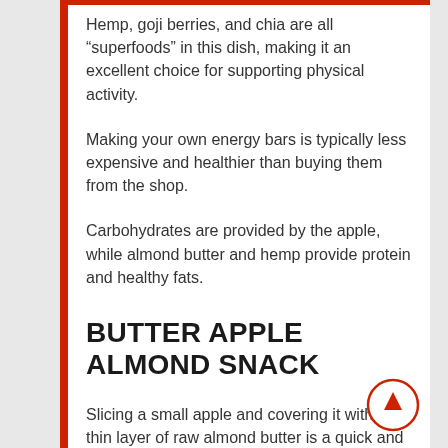Hemp, goji berries, and chia are all “superfoods” in this dish, making it an excellent choice for supporting physical activity.
Making your own energy bars is typically less expensive and healthier than buying them from the shop.
Carbohydrates are provided by the apple, while almond butter and hemp provide protein and healthy fats.
BUTTER APPLE ALMOND SNACK
Slicing a small apple and covering it with a thin layer of raw almond butter is a quick and easy way to make this tasty snack.
I realise that apples and nut butter aren’t ground-